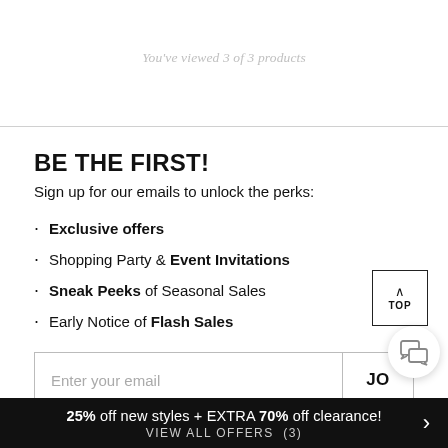You've viewed 3 of 3 products
BE THE FIRST!
Sign up for our emails to unlock the perks:
Exclusive offers
Shopping Party & Event Invitations
Sneak Peeks of Seasonal Sales
Early Notice of Flash Sales
Enter your email
25% off new styles + EXTRA 70% off clearance! VIEW ALL OFFERS (3)